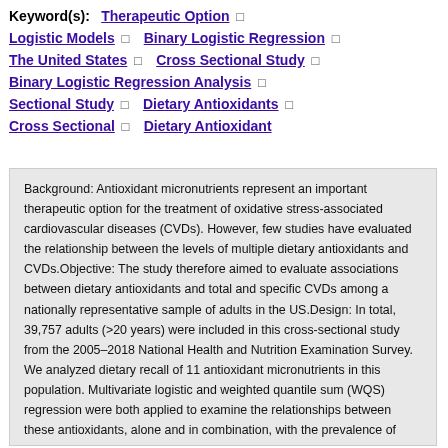Keyword(s): Therapeutic Option □ Logistic Models □ Binary Logistic Regression □ The United States □ Cross Sectional Study □ Binary Logistic Regression Analysis □ Sectional Study □ Dietary Antioxidants □ Cross Sectional □ Dietary Antioxidant
Background: Antioxidant micronutrients represent an important therapeutic option for the treatment of oxidative stress-associated cardiovascular diseases (CVDs). However, few studies have evaluated the relationship between the levels of multiple dietary antioxidants and CVDs.Objective: The study therefore aimed to evaluate associations between dietary antioxidants and total and specific CVDs among a nationally representative sample of adults in the US.Design: In total, 39,757 adults (&gt;20 years) were included in this cross-sectional study from the 2005–2018 National Health and Nutrition Examination Survey. We analyzed dietary recall of 11 antioxidant micronutrients in this population. Multivariate logistic and weighted quantile sum (WQS) regression were both applied to examine the relationships between these antioxidants, alone and in combination, with the prevalence of